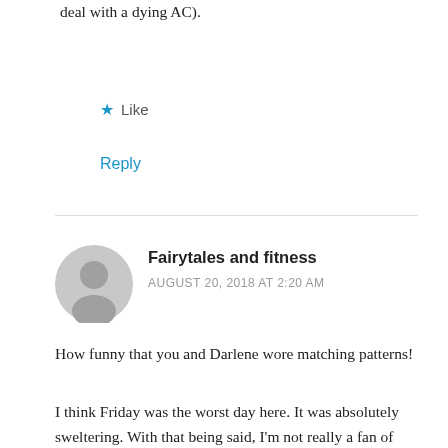deal with a dying AC).
★ Like
Reply
Fairytales and fitness
AUGUST 20, 2018 AT 2:20 AM
How funny that you and Darlene wore matching patterns!
I think Friday was the worst day here. It was absolutely sweltering. With that being said, I'm not really a fan of AC. I want to be warm in the summer. We have central air and keep it on 24/7 or else Baylee pants. Gotta keep her